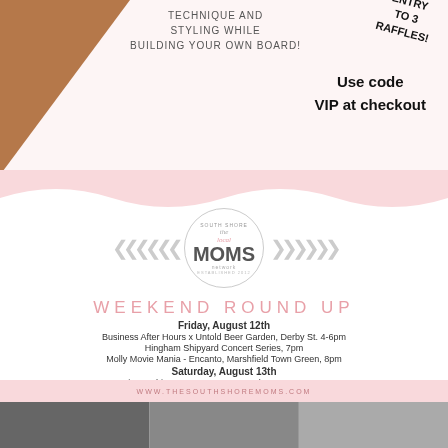TECHNIQUE AND STYLING WHILE BUILDING YOUR OWN BOARD!
Use code VIP at checkout
ENTRY TO 3 RAFFLES!
[Figure (logo): South Shore Local Moms Network circular logo with chevrons on either side]
WEEKEND ROUND UP
Friday, August 12th
Business After Hours x Untold Beer Garden, Derby St. 4-6pm
Hingham Shipyard Concert Series, 7pm
Molly Movie Mania - Encanto, Marshfield Town Green, 8pm
Saturday, August 13th
Rise + Shine Yoga, Cross Street Flower Farm, 9am
Hingham Farmers Market, 9-1pm
Select Tots Soccer, 9:15 + 10:15am
Rockin' at Rexhame, 6-8pm
Sunday, August 14th
Brunch + Barre at Nomai, 10am
Weymouth Farmers Market 10-2pm
WWW.THESOUTHSHOREMOMS.COM